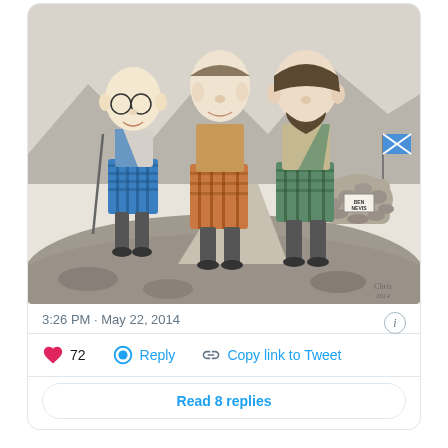[Figure (illustration): A hand-drawn caricature illustration of three men dressed in Scottish Highland attire (kilts, tartan sashes). The left figure is bald with round glasses holding a walking stick. The center figure is taller with short hair. The right figure has a beard. They stand on rocky terrain. In the background is a stone cairn with a 'Ben Nevis' sign and a Scottish Saltire flag. The illustration is pencil-sketched with some color added to the kilts and clothing.]
3:26 PM · May 22, 2014
72  Reply  Copy link to Tweet
Read 8 replies